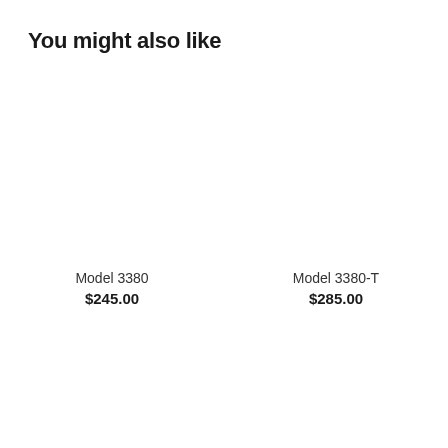You might also like
Model 3380
$245.00
Model 3380-T
$285.00